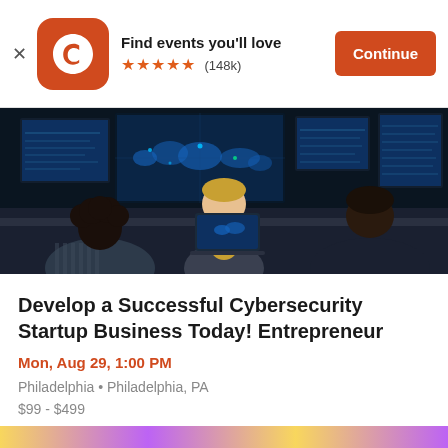Find events you'll love ★★★★★ (148k) Continue
[Figure (photo): Three people from behind working at computer monitors in a dark cybersecurity operations center with world map displays and multiple screens.]
Develop a Successful Cybersecurity Startup Business Today! Entrepreneur
Mon, Aug 29, 1:00 PM
Philadelphia • Philadelphia, PA
$99 - $499